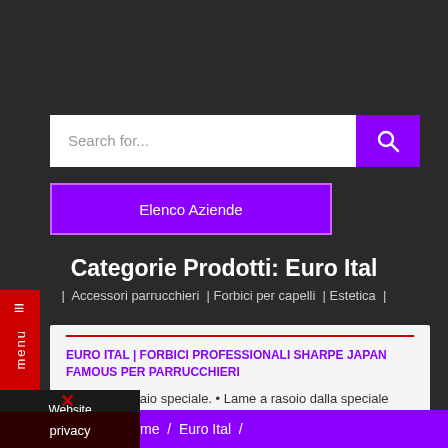Search for...
Elenco Aziende
Categorie Prodotti: Euro Ital
| Accessori parrucchieri | Forbici per capelli | Estetica |
EURO ITAL | FORBICI PROFESSIONALI SHARPE JAPAN FAMOUS PER PARRUCCHIERI
uttura in acciaio speciale. • Lame a rasoio dalla speciale vatura interna. • Vite regolabile a...
menu
Website GLOBElife
privacy
me / Euro Ital /